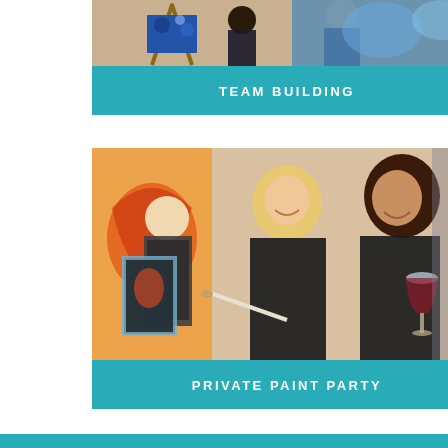[Figure (photo): Photo of people painting at easels, team building activity with colorful artwork visible]
TEAM BUILDING
[Figure (photo): Three women smiling at a paint party, two wearing black aprons, one holding a wine glass and paintbrush]
PRIVATE PAINT PARTY